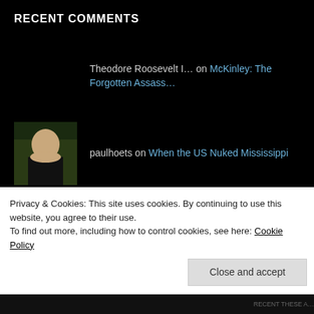RECENT COMMENTS
Theodore Roosevelt I... on McKinley: The Forgotten Assass...
paulhoets on When the US Nuked Mississippi
paulhoets on Project Stargate–the CIA...
brianvds on The Assassination Attempt on F...
Греческий огонь – ВО… on Greek Fire…
Privacy & Cookies: This site uses cookies. By continuing to use this website, you agree to their use. To find out more, including how to control cookies, see here: Cookie Policy
Close and accept